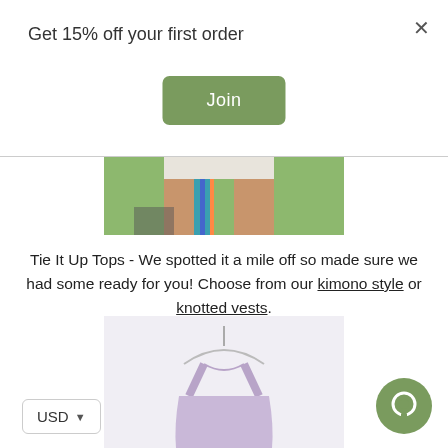Get 15% off your first order
Join
[Figure (photo): Partial photo of a person outdoors on grass, showing legs and a colorful woven belt or accessory]
Tie It Up Tops - We spotted it a mile off so made sure we had some ready for you! Choose from our kimono style or knotted vests.
[Figure (photo): Product photo of a light purple/lavender spaghetti-strap top on a hanger against a white background]
USD